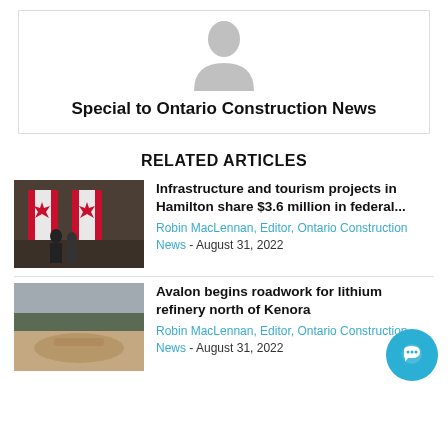[Figure (illustration): Author avatar placeholder silhouette icon]
Special to Ontario Construction News
RELATED ARTICLES
[Figure (photo): Two Canadian flags displayed indoors with people standing nearby]
Infrastructure and tourism projects in Hamilton share $3.6 million in federal...
Robin MacLennan, Editor, Ontario Construction News - August 31, 2022
[Figure (photo): Aerial or ground view of cleared land for Kenora lithium refinery roadwork]
Avalon begins roadwork for lithium refinery north of Kenora
Robin MacLennan, Editor, Ontario Construction News - August 31, 2022